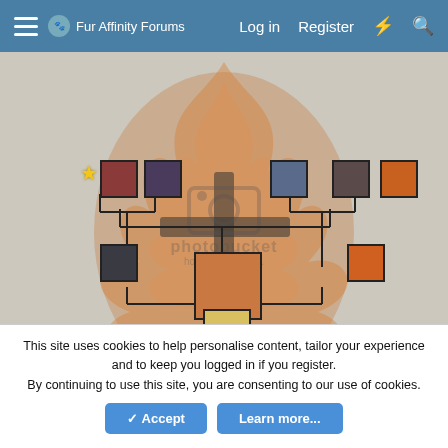Fur Affinity Forums — Log in   Register
[Figure (organizational-chart): Tournament bracket with avatar images connected by lines. A central large avatar is labeled WINNER! in bold. Photobucket watermark overlay visible. Flame/fire illustration in background. Star badge near top-left avatar.]
This site uses cookies to help personalise content, tailor your experience and to keep you logged in if you register.
By continuing to use this site, you are consenting to our use of cookies.
✓ Accept   Learn more...